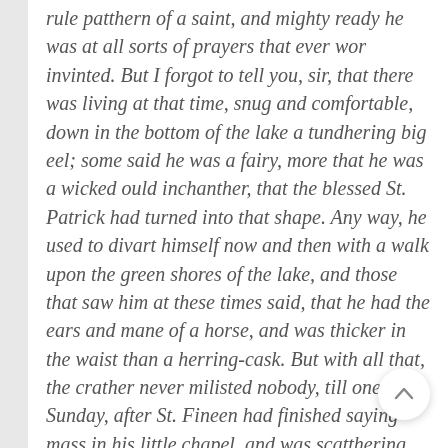rule patthern of a saint, and mighty ready he was at all sorts of prayers that ever wor invinted. But I forgot to tell you, sir, that there was living at that time, snug and comfortable, down in the bottom of the lake a tundhering big eel; some said he was a fairy, more that he was a wicked ould inchanther, that the blessed St. Patrick had turned into that shape. Any way, he used to divart himself now and then with a walk upon the green shores of the lake, and those that saw him at these times said, that he had the ears and mane of a horse, and was thicker in the waist than a herring-cask. But with all that, the crather never milisted nobody, till one fine Sunday, after St. Fineen had finished saying mass in his little chapel, and was scatthering the holy water over his congregation, all of a suddent the ould eel popped up out of the lake, and,